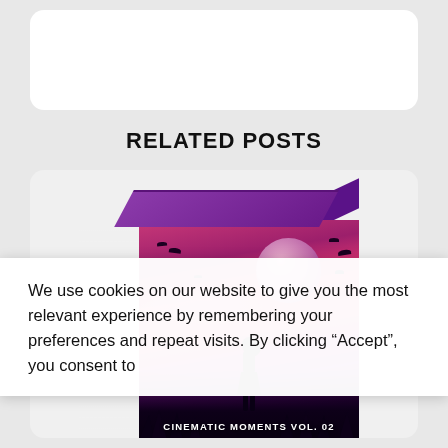RELATED POSTS
[Figure (illustration): 3D product box for 'Cinematic Moments Vol. 02' — dark textured sides with purple top, front face shows anime/cinematic artwork of a girl silhouette standing in a pink/purple sunset with a large moon and birds flying.]
We use cookies on our website to give you the most relevant experience by remembering your preferences and repeat visits. By clicking "Accept", you consent to